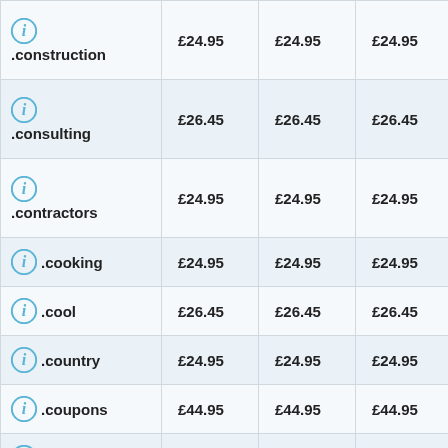| Domain | Price 1 | Price 2 | Price 3 |
| --- | --- | --- | --- |
| .construction | £24.95 | £24.95 | £24.95 |
| .consulting | £26.45 | £26.45 | £26.45 |
| .contractors | £24.95 | £24.95 | £24.95 |
| .cooking | £24.95 | £24.95 | £24.95 |
| .cool | £26.45 | £26.45 | £26.45 |
| .country | £24.95 | £24.95 | £24.95 |
| .coupons | £44.95 | £44.95 | £44.95 |
| .courses | £29.95 | £29.95 | £29.95 |
| .cricket | £54.95 | £54.95 | £54.95 |